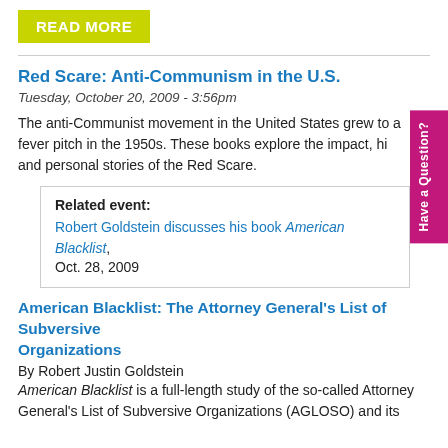READ MORE
Red Scare: Anti-Communism in the U.S.
Tuesday, October 20, 2009 - 3:56pm
The anti-Communist movement in the United States grew to a fever pitch in the 1950s. These books explore the impact, history, and personal stories of the Red Scare.
Related event:
Robert Goldstein discusses his book American Blacklist, Oct. 28, 2009
American Blacklist: The Attorney General's List of Subversive Organizations
By Robert Justin Goldstein
American Blacklist is a full-length study of the so-called Attorney General's List of Subversive Organizations (AGLOSO) and its